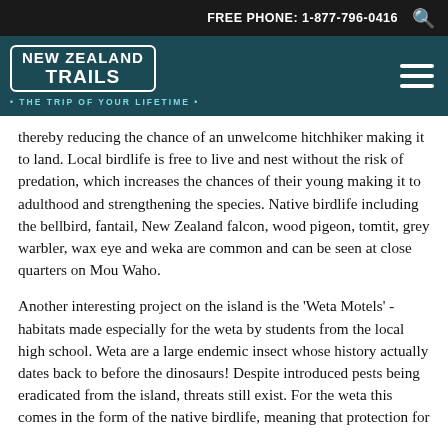FREE PHONE: 1-877-796-0416
[Figure (logo): New Zealand Trails logo with tagline 'THE TRIP OF YOUR LIFETIME']
thereby reducing the chance of an unwelcome hitchhiker making it to land. Local birdlife is free to live and nest without the risk of predation, which increases the chances of their young making it to adulthood and strengthening the species. Native birdlife including the bellbird, fantail, New Zealand falcon, wood pigeon, tomtit, grey warbler, wax eye and weka are common and can be seen at close quarters on Mou Waho.
Another interesting project on the island is the 'Weta Motels' - habitats made especially for the weta by students from the local high school. Weta are a large endemic insect whose history actually dates back to before the dinosaurs! Despite introduced pests being eradicated from the island, threats still exist. For the weta this comes in the form of the native birdlife, meaning that protection for